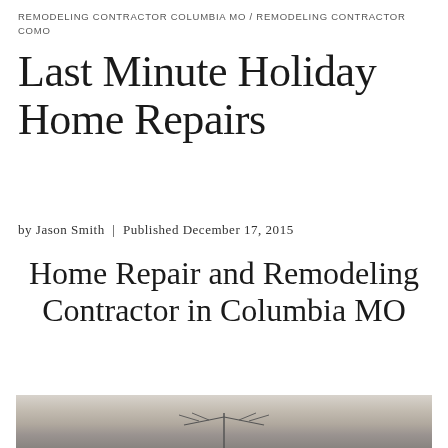REMODELING CONTRACTOR COLUMBIA MO / REMODELING CONTRACTOR COMO
Last Minute Holiday Home Repairs
by Jason Smith  |  Published December 17, 2015
Home Repair and Remodeling Contractor in Columbia MO
[Figure (photo): Outdoor photograph showing what appears to be an antenna or aerial structure against a hazy, overcast sky with muted grey-beige tones]